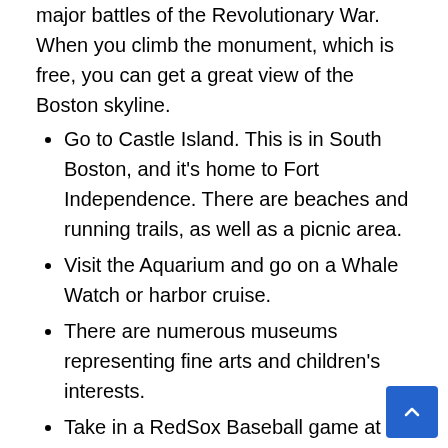major battles of the Revolutionary War. When you climb the monument, which is free, you can get a great view of the Boston skyline.
Go to Castle Island. This is in South Boston, and it's home to Fort Independence. There are beaches and running trails, as well as a picnic area.
Visit the Aquarium and go on a Whale Watch or harbor cruise.
There are numerous museums representing fine arts and children's interests.
Take in a RedSox Baseball game at legendary Fenway Park.
Finally, you should get a drink at the Sam Adams Tavern on State Street, visit the